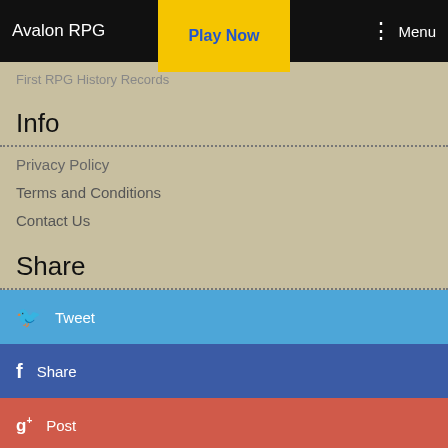Avalon RPG | Play Now | Menu
First RPG History Records
Info
Privacy Policy
Terms and Conditions
Contact Us
Share
Tweet
Share
Post
Pin
Submit to Reddit
Save on Delicious